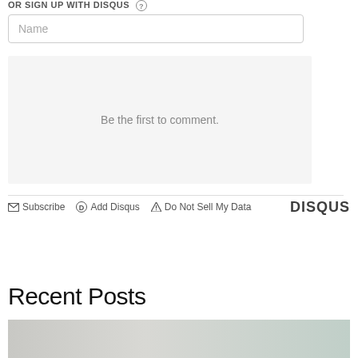OR SIGN UP WITH DISQUS (?)
Name
Be the first to comment.
Subscribe  Add Disqus  Do Not Sell My Data  DISQUS
Recent Posts
[Figure (photo): A street-level photo showing a classical building with columns on the left and a domed building on the right, with trees in the background.]